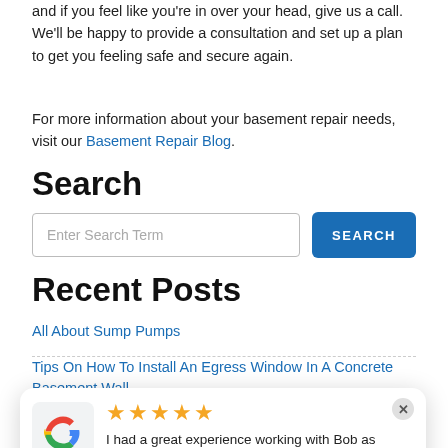and if you feel like you're in over your head, give us a call. We'll be happy to provide a consultation and set up a plan to get you feeling safe and secure again.
For more information about your basement repair needs, visit our Basement Repair Blog.
Search
Enter Search Term [search input] SEARCH [button]
Recent Posts
All About Sump Pumps
Tips On How To Install An Egress Window In A Concrete Basement Wall
[Figure (other): Google review popup with 5 stars, text: I had a great experience working with Bob as our project man... More — Margaret Uselman]